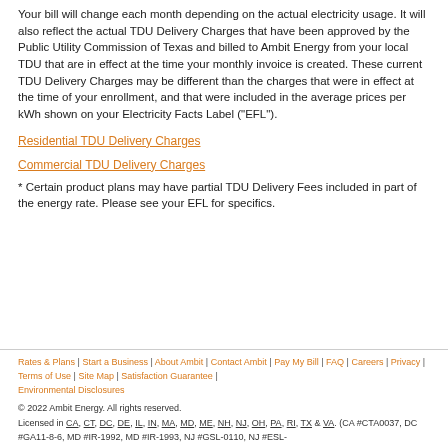Your bill will change each month depending on the actual electricity usage. It will also reflect the actual TDU Delivery Charges that have been approved by the Public Utility Commission of Texas and billed to Ambit Energy from your local TDU that are in effect at the time your monthly invoice is created. These current TDU Delivery Charges may be different than the charges that were in effect at the time of your enrollment, and that were included in the average prices per kWh shown on your Electricity Facts Label ("EFL").
Residential TDU Delivery Charges
Commercial TDU Delivery Charges
* Certain product plans may have partial TDU Delivery Fees included in part of the energy rate. Please see your EFL for specifics.
Rates & Plans | Start a Business | About Ambit | Contact Ambit | Pay My Bill | FAQ | Careers | Privacy | Terms of Use | Site Map | Satisfaction Guarantee | Environmental Disclosures
© 2022 Ambit Energy. All rights reserved.
Licensed in CA, CT, DC, DE, IL, IN, MA, MD, ME, NH, NJ, OH, PA, RI, TX & VA. (CA #CTA0037, DC #GA11-8-6, MD #IR-1992, MD #IR-1993, NJ #GSL-0110, NJ #ESL-...